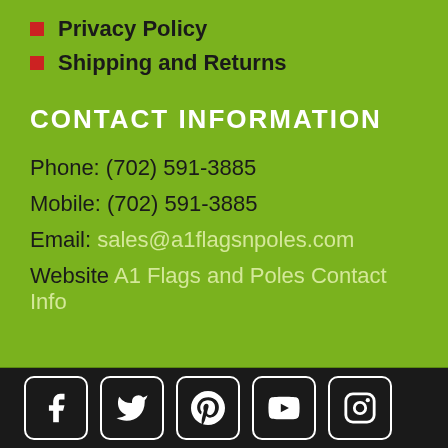Privacy Policy
Shipping and Returns
CONTACT INFORMATION
Phone: (702) 591-3885
Mobile: (702) 591-3885
Email: sales@a1flagsnpoles.com
Website A1 Flags and Poles Contact Info
[Figure (other): Social media icons: Facebook, Twitter, Pinterest, YouTube, Instagram]